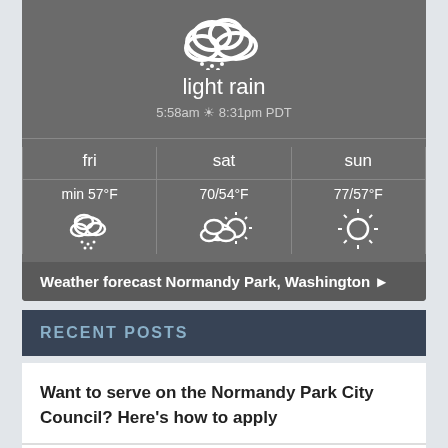[Figure (screenshot): Weather widget showing light rain conditions at top of page. Large rain/cloud icon, condition 'light rain', time '5:58am ☀ 8:31pm PDT'. Forecast grid showing fri (min 57°F, cloud-snow icon), sat (70/54°F, cloud-sun icon), sun (77/57°F, sun icon). Footer link 'Weather forecast Normandy Park, Washington ►']
RECENT POSTS
Want to serve on the Normandy Park City Council? Here's how to apply